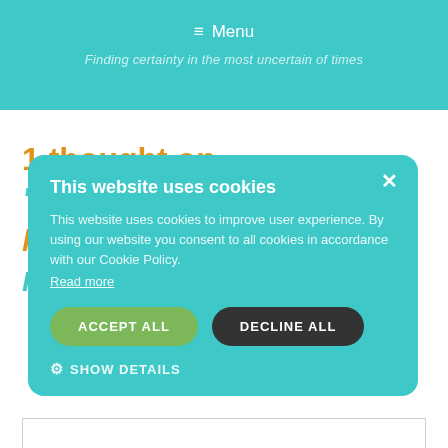≡ Menu
Finding certainty in the most uncertain of times
1 thought on
"Inspirational Story – Dr. Natascha Hebell-Flinchum"
DEBBIE GRANT
November 13, 2020 at 2:45 pm
[Figure (screenshot): Cookie consent modal overlay with teal background. Title: 'This website uses cookies'. Body: 'This website uses cookies to improve user experience. By using our website you consent to all cookies in accordance with our Cookie Policy. Read more'. Buttons: ACCEPT ALL (green), DECLINE ALL (dark), SHOW DETAILS with gear icon. Close X button top right.]